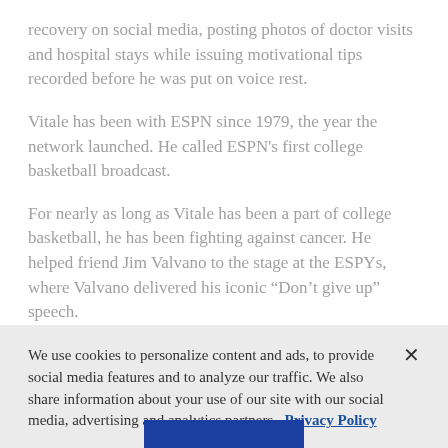recovery on social media, posting photos of doctor visits and hospital stays while issuing motivational tips recorded before he was put on voice rest.
Vitale has been with ESPN since 1979, the year the network launched. He called ESPN's first college basketball broadcast.
For nearly as long as Vitale has been a part of college basketball, he has been fighting against cancer. He helped friend Jim Valvano to the stage at the ESPYs, where Valvano delivered his iconic “Don’t give up” speech.
We use cookies to personalize content and ads, to provide social media features and to analyze our traffic. We also share information about your use of our site with our social media, advertising and analytics partners. Privacy Policy